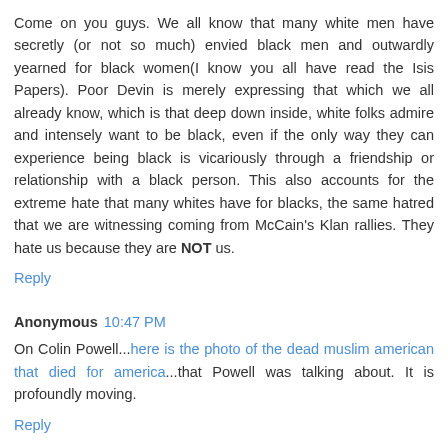Come on you guys. We all know that many white men have secretly (or not so much) envied black men and outwardly yearned for black women(I know you all have read the Isis Papers). Poor Devin is merely expressing that which we all already know, which is that deep down inside, white folks admire and intensely want to be black, even if the only way they can experience being black is vicariously through a friendship or relationship with a black person. This also accounts for the extreme hate that many whites have for blacks, the same hatred that we are witnessing coming from McCain's Klan rallies. They hate us because they are NOT us.
Reply
Anonymous 10:47 PM
On Colin Powell...here is the photo of the dead muslim american that died for america...that Powell was talking about. It is profoundly moving.
Reply